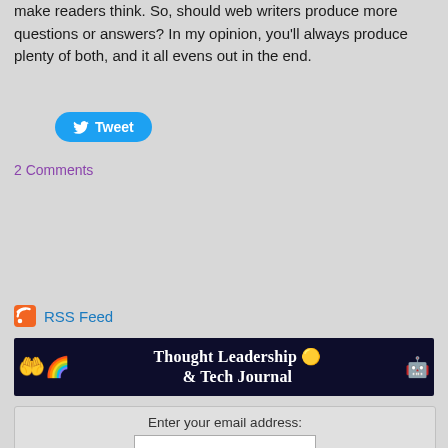make readers think. So, should web writers produce more questions or answers? In my opinion, you'll always produce plenty of both, and it all evens out in the end.
[Figure (other): Twitter Tweet button with bird icon]
2 Comments
[Figure (other): RSS Feed icon with link text 'RSS Feed']
[Figure (other): Banner image: dark navy background with emoji icons (hands, disco ball, alien, question mark, robot). Text reads 'Thought Leadership & Tech Journal']
Enter your email address: